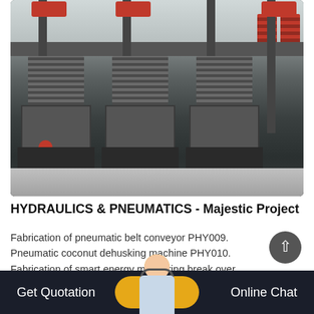[Figure (photo): Industrial hydraulic and pneumatic machinery units with spring stacks and red accents, photographed in a factory/warehouse setting]
HYDRAULICS & PNEUMATICS - Majestic Project
Fabrication of pneumatic belt conveyor PHY009. Pneumatic coconut dehusking machine PHY010. Fabrication of smart energy monitoring break over module PHY011. Automatic...